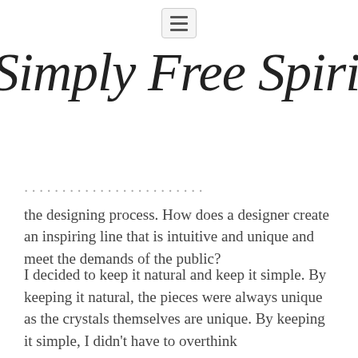≡
Simply Free Spirited
the designing process. How does a designer create an inspiring line that is intuitive and unique and meet the demands of the public?
I decided to keep it natural and keep it simple. By keeping it natural, the pieces were always unique as the crystals themselves are unique. By keeping it simple, I didn't have to overthink